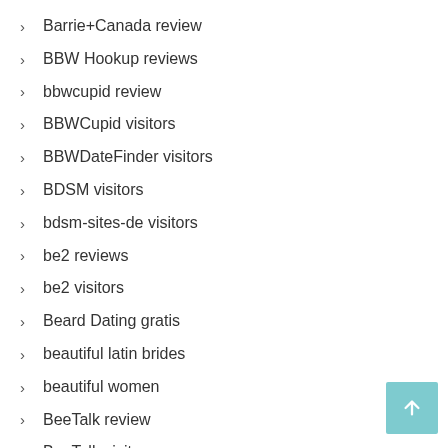Barrie+Canada review
BBW Hookup reviews
bbwcupid review
BBWCupid visitors
BBWDateFinder visitors
BDSM visitors
bdsm-sites-de visitors
be2 reviews
be2 visitors
Beard Dating gratis
beautiful latin brides
beautiful women
BeeTalk review
BeeTalk visitors
beetalk-inceleme visitors
Belfast+United Kingdom review